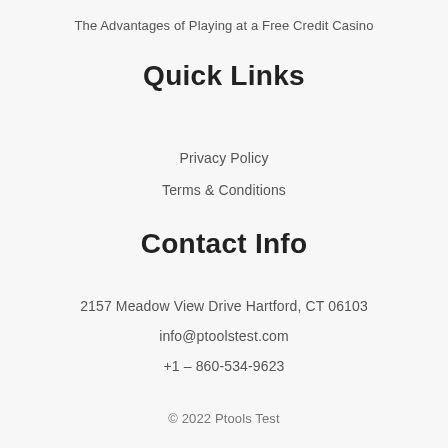The Advantages of Playing at a Free Credit Casino
Quick Links
Privacy Policy
Terms & Conditions
Contact Info
2157 Meadow View Drive Hartford, CT 06103
info@ptoolstest.com
+1 – 860-534-9623
© 2022 Ptools Test